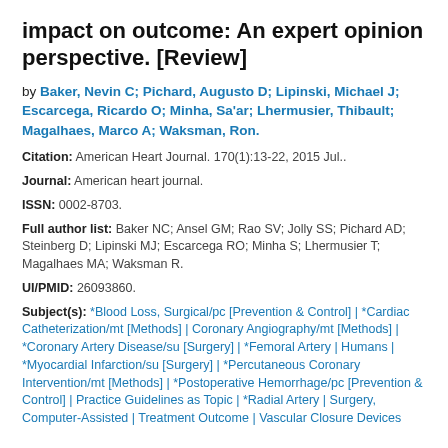impact on outcome: An expert opinion perspective. [Review]
by Baker, Nevin C; Pichard, Augusto D; Lipinski, Michael J; Escarcega, Ricardo O; Minha, Sa'ar; Lhermusier, Thibault; Magalhaes, Marco A; Waksman, Ron.
Citation: American Heart Journal. 170(1):13-22, 2015 Jul..
Journal: American heart journal.
ISSN: 0002-8703.
Full author list: Baker NC; Ansel GM; Rao SV; Jolly SS; Pichard AD; Steinberg D; Lipinski MJ; Escarcega RO; Minha S; Lhermusier T; Magalhaes MA; Waksman R.
UI/PMID: 26093860.
Subject(s): *Blood Loss, Surgical/pc [Prevention & Control] | *Cardiac Catheterization/mt [Methods] | Coronary Angiography/mt [Methods] | *Coronary Artery Disease/su [Surgery] | *Femoral Artery | Humans | *Myocardial Infarction/su [Surgery] | *Percutaneous Coronary Intervention/mt [Methods] | *Postoperative Hemorrhage/pc [Prevention & Control] | Practice Guidelines as Topic | *Radial Artery | Surgery, Computer-Assisted | Treatment Outcome | Vascular Closure Devices